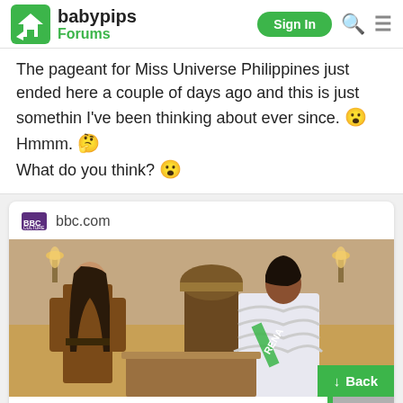babypips Forums
The pageant for Miss Universe Philippines just ended here a couple of days ago and this is just somethin I've been thinking about ever since. 😮 Hmmm. 🤔 What do you think? 😮
[Figure (screenshot): BBC Culture link card preview showing two women in a period drama scene, one in brown leather outfit, one in white ruffled dress with a sash reading RENA]
Can beauty pageants ever be ...